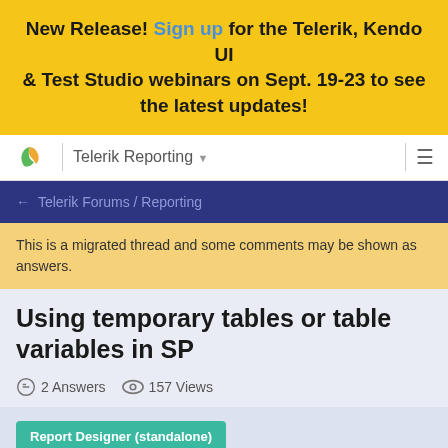New Release! Sign up for the Telerik, Kendo UI & Test Studio webinars on Sept. 19-23 to see the latest updates!
Telerik Reporting
← Telerik Forums / Reporting
This is a migrated thread and some comments may be shown as answers.
Using temporary tables or table variables in SP
2 Answers  157 Views
Report Designer (standalone)